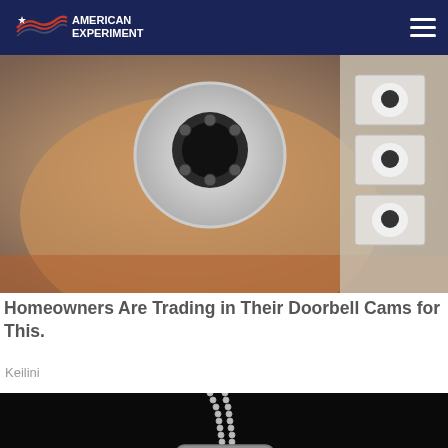[Figure (logo): American Experiment logo with navigation bar on dark navy background]
[Figure (photo): A hand holding a small white dome security/doorbell camera, with more cameras in boxes in background]
Homeowners Are Trading in Their Doorbell Cams for This.
Keilini
[Figure (photo): Military dog tags on a ball chain against dark background, with text overlay reading TOXIC WATER LAWSUIT CAMP LEJEUNE]